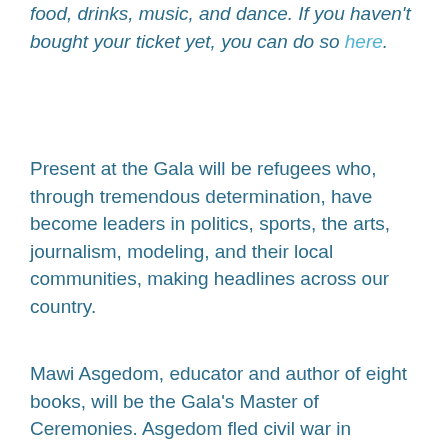food, drinks, music, and dance. If you haven't bought your ticket yet, you can do so here.
Present at the Gala will be refugees who, through tremendous determination, have become leaders in politics, sports, the arts, journalism, modeling, and their local communities, making headlines across our country.
Mawi Asgedom, educator and author of eight books, will be the Gala's Master of Ceremonies. Asgedom fled civil war in